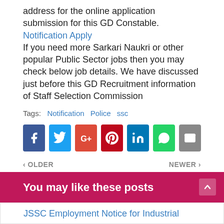address for the online application submission for this GD Constable.
Notification Apply
If you need more Sarkari Naukri or other popular Public Sector jobs then you may check below job details. We have discussed just before this GD Recruitment information of Staff Selection Commission
Tags:  Notification  Police  ssc
[Figure (infographic): Social sharing icons row: Facebook (blue), Twitter (light blue), Google+ (red-orange), Pinterest (dark red), LinkedIn (blue), WhatsApp (green), Email (grey)]
< OLDER    NEWER >
You may like these posts
JSSC Employment Notice for Industrial